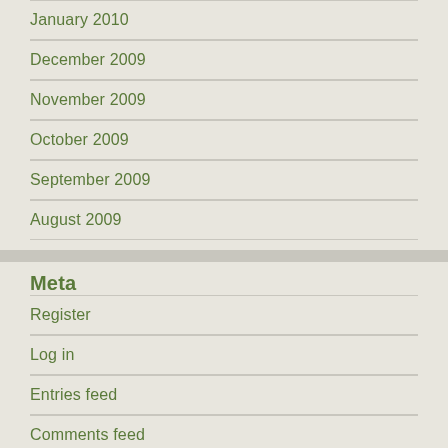January 2010
December 2009
November 2009
October 2009
September 2009
August 2009
Meta
Register
Log in
Entries feed
Comments feed
WordPress.com